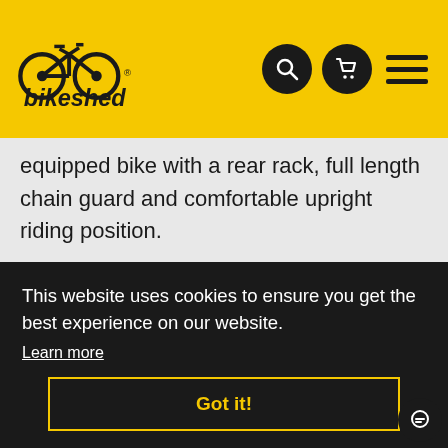[Figure (logo): Bikeshed logo on yellow header with search icon, cart icon, and hamburger menu]
equipped bike with a rear rack, full length chain guard and comfortable upright riding position.
Ideal for a leisurely commute, meander through the village or lanes and even for popping to the shops.
This website uses cookies to ensure you get the best experience on our website.
Learn more
Got it!
Bafang handlebar mounted display